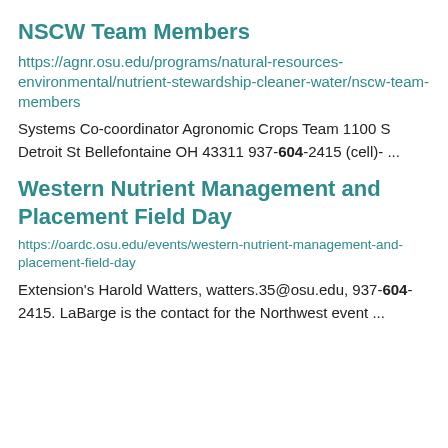NSCW Team Members
https://agnr.osu.edu/programs/natural-resources-environmental/nutrient-stewardship-cleaner-water/nscw-team-members
Systems Co-coordinator Agronomic Crops Team 1100 S Detroit St Bellefontaine OH 43311 937-604-2415 (cell)- ...
Western Nutrient Management and Placement Field Day
https://oardc.osu.edu/events/western-nutrient-management-and-placement-field-day
Extension’s Harold Watters, watters.35@osu.edu, 937-604-2415. LaBarge is the contact for the Northwest event ...